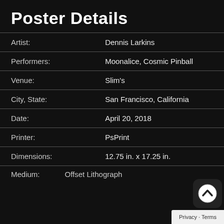Poster Details
| Field | Value |
| --- | --- |
| Artist: | Dennis Larkins |
| Performers: | Moonalice, Cosmic Pinball |
| Venue: | Slim's |
| City, State: | San Francisco, California |
| Date: | April 20, 2018 |
| Printer: | PsPrint |
| Dimensions: | 12.75 in. x 17.25 in. |
| Medium: | Offset Lithograph |